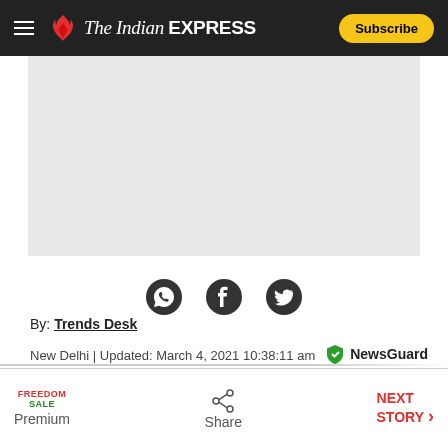The Indian EXPRESS | Subscribe
[Figure (other): Advertisement placeholder area, light gray background]
[Figure (other): Social share icons: WhatsApp, Facebook, Twitter]
By: Trends Desk
New Delhi | Updated: March 4, 2021 10:38:11 am
[Figure (logo): NewsGuard green shield checkmark logo with text NewsGuard]
FREEDOM SALE Premium | Share | NEXT STORY →